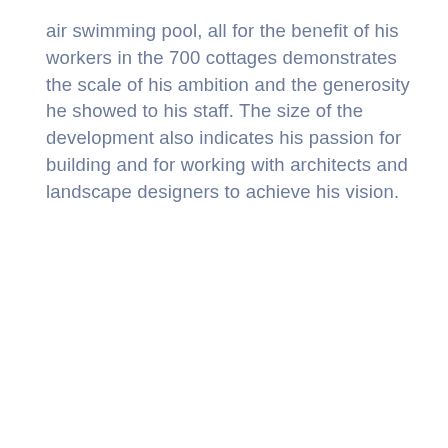air swimming pool, all for the benefit of his workers in the 700 cottages demonstrates the scale of his ambition and the generosity he showed to his staff. The size of the development also indicates his passion for building and for working with architects and landscape designers to achieve his vision.